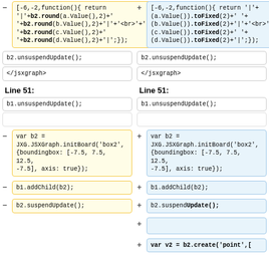[-6,-2,function(){ return '|'+'|'+b2.round(a.Value(),2)+''+'+b2.round(b.Value(),2)+'|'+'<br>'+'|'+'+b2.round(c.Value(),2)+''+''+b2.round(d.Value(),2)+'|';});
[-6,-2,function(){ return '|'+(a.Value()).toFixed(2)+' '+(b.Value()).toFixed(2)+'|'+'<br>'+'|'+(c.Value()).toFixed(2)+' '+(d.Value()).toFixed(2)+'|';});
b2.unsuspendUpdate();
b2.unsuspendUpdate();
</jsxgraph>
</jsxgraph>
Line 51:
Line 51:
b1.unsuspendUpdate();
b1.unsuspendUpdate();
var b2 = JXG.JSXGraph.initBoard('box2', {boundingbox: [-7.5, 7.5, 12.5, -7.5], axis: true});
var b2 = JXG.JSXGraph.initBoard('box2', {boundingbox: [-7.5, 7.5, 12.5, -7.5], axis: true});
b1.addChild(b2);
b1.addChild(b2);
b2.suspendUpdate();
b2.suspendUpdate();
var v2 = b2.create('point',[